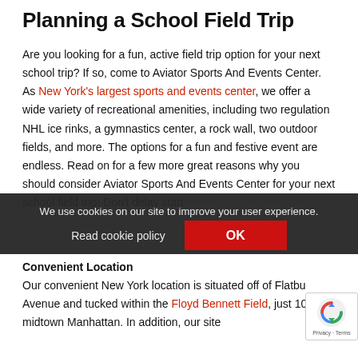Planning a School Field Trip
Are you looking for a fun, active field trip option for your next school trip? If so, come to Aviator Sports And Events Center. As New York's largest sports and events center, we offer a wide variety of recreational amenities, including two regulation NHL ice rinks, a gymnastics center, a rock wall, two outdoor fields, and more. The options for a fun and festive event are endless. Read on for a few more great reasons why you should consider Aviator Sports And Events Center for your next school field trip! Don't delay start
We use cookies on our site to improve your user experience.
Read cookie policy
OK
Convenient Location
Our convenient New York location is situated off of Flatbu Avenue and tucked within the Floyd Bennett Field, just 10 from midtown Manhattan. In addition, our site